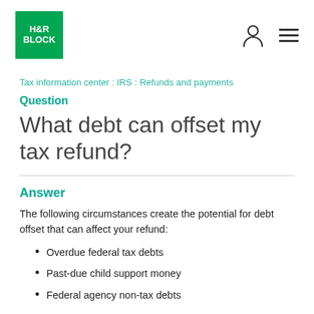H&R BLOCK logo with navigation icons
Tax information center : IRS : Refunds and payments
Question
What debt can offset my tax refund?
Answer
The following circumstances create the potential for debt offset that can affect your refund:
Overdue federal tax debts
Past-due child support money
Federal agency non-tax debts